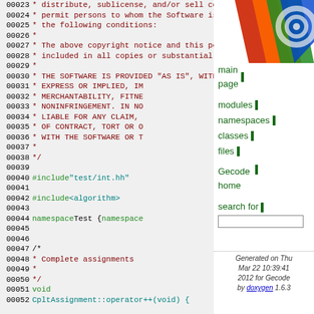Source code listing lines 00023-00052 of a C++ file showing MIT license header and code including #include directives and namespace declaration
[Figure (logo): Gecode/Doxygen logo with overlapping colored fan shapes in red, orange, green, and blue with a circular target graphic]
main page
modules
namespaces
classes
files
Gecode home
search for
Generated on Thu Mar 22 10:39:41 2012 for Gecode by doxygen 1.6.3